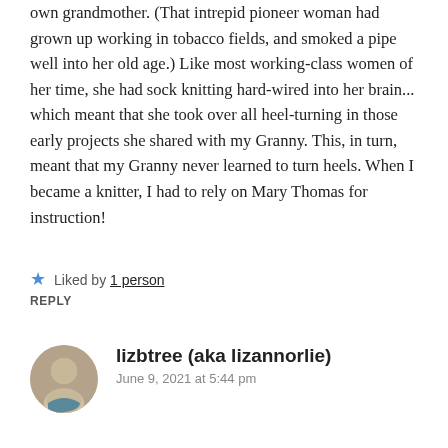own grandmother. (That intrepid pioneer woman had grown up working in tobacco fields, and smoked a pipe well into her old age.) Like most working-class women of her time, she had sock knitting hard-wired into her brain... which meant that she took over all heel-turning in those early projects she shared with my Granny. This, in turn, meant that my Granny never learned to turn heels. When I became a knitter, I had to rely on Mary Thomas for instruction!
★ Liked by 1 person
REPLY
lizbtree (aka lizannorlie)
June 9, 2021 at 5:44 pm
Like you, I have not yet started any socks yet, but I a very